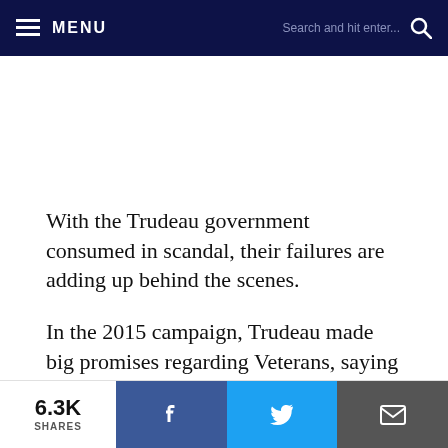MENU  Search and hit enter...
With the Trudeau government consumed in scandal, their failures are adding up behind the scenes.
In the 2015 campaign, Trudeau made big promises regarding Veterans, saying he would fix the many broken aspects of Veterans Affairs and help Canada’s
6.3K SHARES